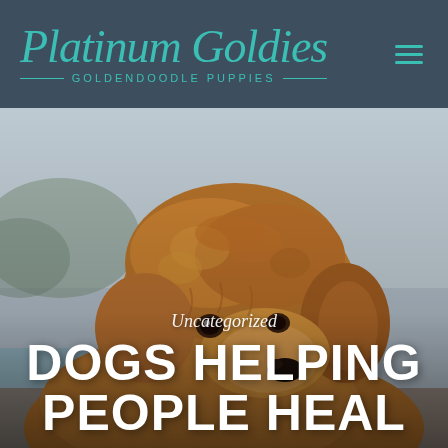Platinum Goldies — Goldendoodle Puppies
[Figure (photo): Close-up photo of a fluffy golden/red Goldendoodle puppy with curly fur, facing slightly left, against a blurred outdoor background]
Uncategorized
DOGS HELPING PEOPLE HEAL